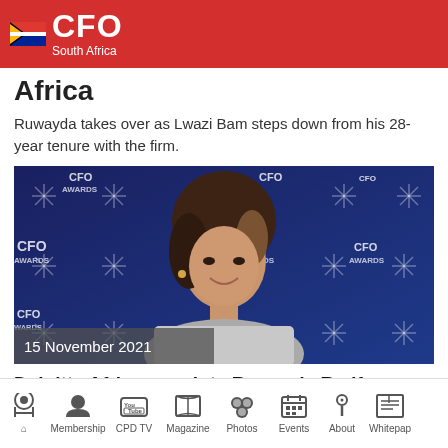CFO South Africa
Africa
Ruwayda takes over as Lwazi Bam steps down from his 28-year tenure with the firm.
[Figure (photo): Photo of Ruwayda Redfearn at CFO Awards event with blue CFO Awards branded backdrop, date overlay reading 15 November 2021]
Deloitte Africa appoints Ruwayda Redfearn as first female CEO
Home | Membership | CPD TV | Magazine | Photos | Events | About | Whitepaper